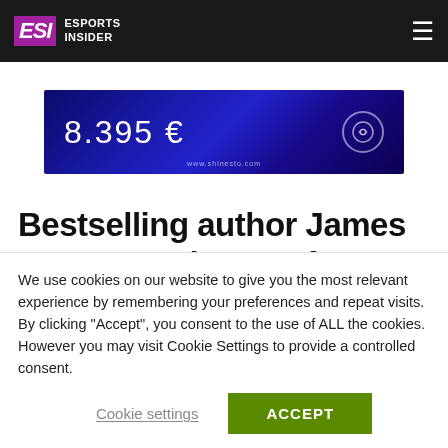ESI Esports Insider
[Figure (infographic): Advertisement banner with blue gradient background showing price '8.395 €' and a circular logo icon, with URL www.shinesto.com]
Bestselling author James Frey named CEO of Andbox
We use cookies on our website to give you the most relevant experience by remembering your preferences and repeat visits. By clicking "Accept", you consent to the use of ALL the cookies. However you may visit Cookie Settings to provide a controlled consent.